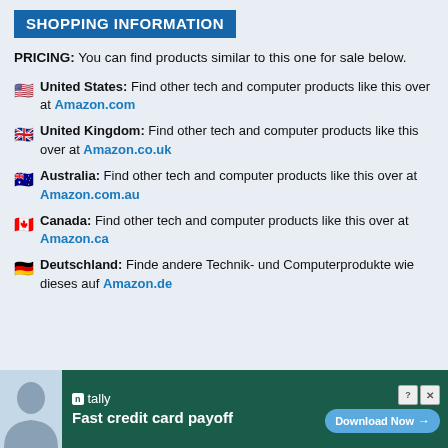SHOPPING INFORMATION
PRICING: You can find products similar to this one for sale below.
🇺🇸 United States: Find other tech and computer products like this over at Amazon.com
🇬🇧 United Kingdom: Find other tech and computer products like this over at Amazon.co.uk
🇦🇺 Australia: Find other tech and computer products like this over at Amazon.com.au
🇨🇦 Canada: Find other tech and computer products like this over at Amazon.ca
🇩🇪 Deutschland: Finde andere Technik- und Computerprodukte wie dieses auf Amazon.de
[Figure (infographic): Tally app advertisement banner: Fast credit card payoff, Download Now button]